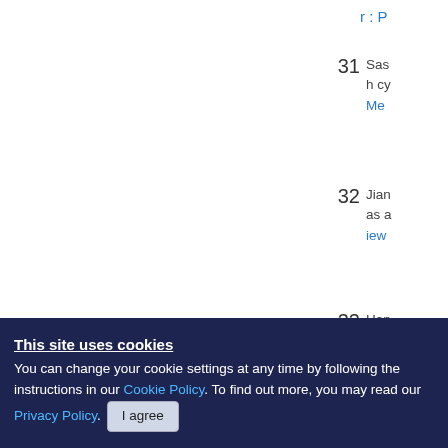r : P
31  Sas h cy Me
32  Jian as a iew
33  Han ruv vul
This site uses cookies You can change your cookie settings at any time by following the instructions in our Cookie Policy. To find out more, you may read our Privacy Policy. I agree